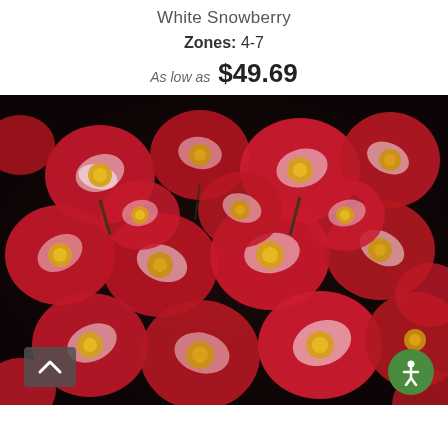White Snowberry
Zones: 4-7
As low as $49.69
[Figure (photo): Close-up photograph of red and white striped/variegated rose flowers with yellow centers, densely clustered together against a dark background]